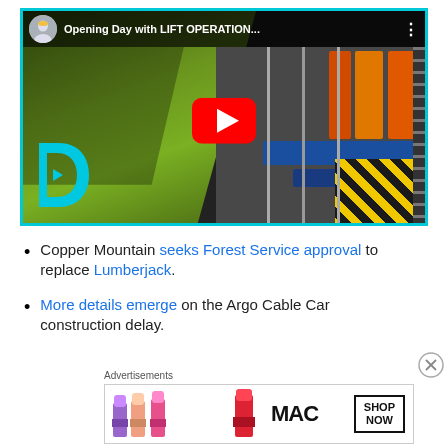[Figure (screenshot): YouTube video thumbnail showing a person in a green jacket (lift operator) standing in front of ski lift machinery with orange, blue, and yellow components. Title reads 'Opening Day with LIFT OPERATION...' with a red YouTube play button in the center and a cyan Discovery D logo in the lower left.]
Copper Mountain seeks Forest Service approval to replace Lumberjack.
More details emerge on the Argo Cable Car construction delay.
[Figure (screenshot): MAC cosmetics advertisement banner showing lipsticks and 'SHOP NOW' button.]